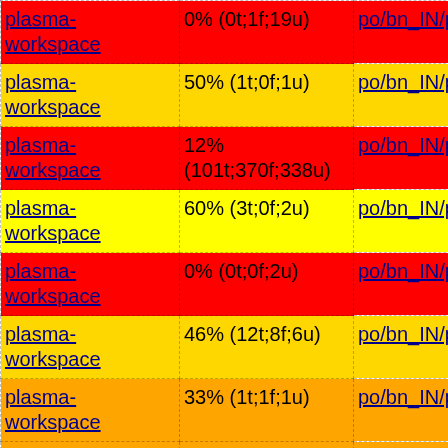| Component | Status | Path |
| --- | --- | --- |
| plasma-workspace | 0% (0t;1f;19u) | po/bn_IN/plasma_a... |
| plasma-workspace | 50% (1t;0f;1u) | po/bn_IN/plasma_e... |
| plasma-workspace | 12% (101t;370f;338u) | po/bn_IN/plasma_e... |
| plasma-workspace | 60% (3t;0f;2u) | po/bn_IN/plasma_ru... |
| plasma-workspace | 0% (0t;0f;2u) | po/bn_IN/plasma_ru... |
| plasma-workspace | 46% (12t;8f;6u) | po/bn_IN/plasma_ru... |
| plasma-workspace | 33% (1t;1f;1u) | po/bn_IN/plasma_ru... |
| plasma-workspace | 20% (1t;0f;4u) | po/bn_IN/plasma_ru... |